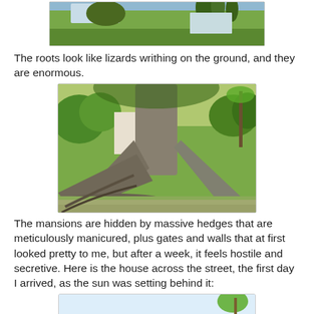[Figure (photo): Partial photo of a large tree with grass lawn and water/palm trees in background — top portion visible]
The roots look like lizards writhing on the ground, and they are enormous.
[Figure (photo): Close-up photo of enormous above-ground roots of a large tropical tree (kapok/ceiba type), roots sprawling along the ground like giant lizards, green foliage in background]
The mansions are hidden by massive hedges that are meticulously manicured, plus gates and walls that at first looked pretty to me, but after a week, it feels hostile and secretive.  Here is the house across the street, the first day I arrived, as the sun was setting behind it:
[Figure (photo): Partial photo of a house across the street with sun setting behind it, pale sky and palm tree visible at right edge — bottom portion cut off]